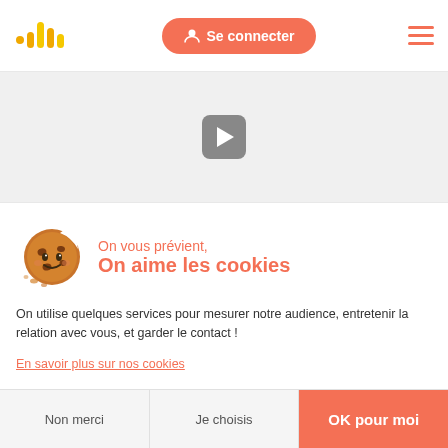[Figure (logo): Bar chart style logo in orange/yellow colors]
Se connecter
[Figure (screenshot): Video player area with play button on grey background]
[Figure (illustration): Cute cartoon cookie emoji character]
On vous prévient,
On aime les cookies
On utilise quelques services pour mesurer notre audience, entretenir la relation avec vous, et garder le contact !
En savoir plus sur nos cookies
Non merci
Je choisis
OK pour moi